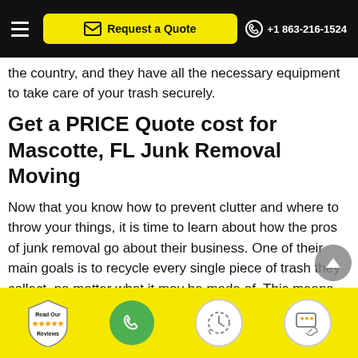Request a Quote | +1 863-216-1524
the country, and they have all the necessary equipment to take care of your trash securely.
Get a PRICE Quote cost for Mascotte, FL Junk Removal Moving
Now that you know how to prevent clutter and where to throw your things, it is time to learn about how the pros of junk removal go about their business. One of their main goals is to recycle every single piece of trash they collect, no matter what it may be made of. This means that whatever is made of paper, plastic, or metal can be
Read Our Reviews | Phone | Schedule | Chat